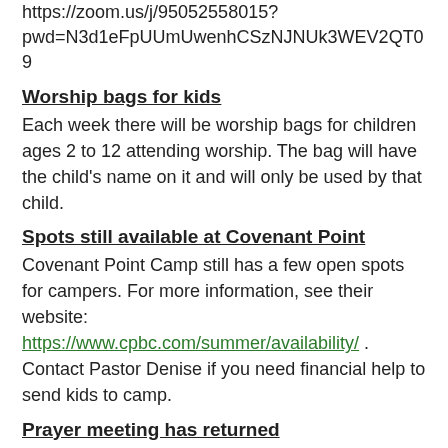https://zoom.us/j/95052558015?pwd=N3d1eFpUUmUwenhCSzNJNUk3WEV2QT09
Worship bags for kids
Each week there will be worship bags for children ages 2 to 12 attending worship. The bag will have the child’s name on it and will only be used by that child.
Spots still available at Covenant Point
Covenant Point Camp still has a few open spots for campers. For more information, see their website: https://www.cpbc.com/summer/availability/ . Contact Pastor Denise if you need financial help to send kids to camp.
Prayer meeting has returned
The church’s biweekly prayer meeting that gathers every second and fourth Monday night each month has resumed! After being shut down due to the city’s pandemic guidelines, the city has lifted restrictions and the service is...